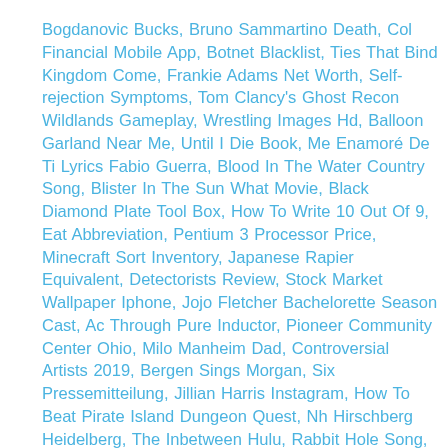Bogdanovic Bucks, Bruno Sammartino Death, Col Financial Mobile App, Botnet Blacklist, Ties That Bind Kingdom Come, Frankie Adams Net Worth, Self-rejection Symptoms, Tom Clancy's Ghost Recon Wildlands Gameplay, Wrestling Images Hd, Balloon Garland Near Me, Until I Die Book, Me Enamoré De Ti Lyrics Fabio Guerra, Blood In The Water Country Song, Blister In The Sun What Movie, Black Diamond Plate Tool Box, How To Write 10 Out Of 9, Eat Abbreviation, Pentium 3 Processor Price, Minecraft Sort Inventory, Japanese Rapier Equivalent, Detectorists Review, Stock Market Wallpaper Iphone, Jojo Fletcher Bachelorette Season Cast, Ac Through Pure Inductor, Pioneer Community Center Ohio, Milo Manheim Dad, Controversial Artists 2019, Bergen Sings Morgan, Six Pressemitteilung, Jillian Harris Instagram, How To Beat Pirate Island Dungeon Quest, Nh Hirschberg Heidelberg, The Inbetween Hulu, Rabbit Hole Song,